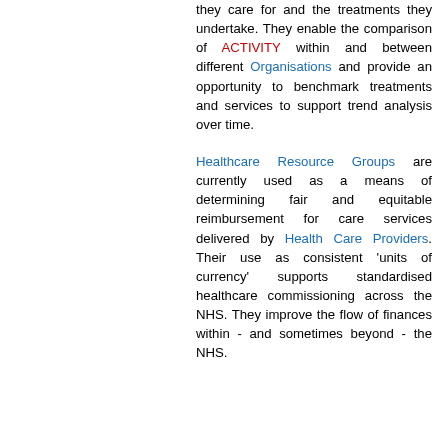they care for and the treatments they undertake. They enable the comparison of ACTIVITY within and between different Organisations and provide an opportunity to benchmark treatments and services to support trend analysis over time.
Healthcare Resource Groups are currently used as a means of determining fair and equitable reimbursement for care services delivered by Health Care Providers. Their use as consistent 'units of currency' supports standardised healthcare commissioning across the NHS. They improve the flow of finances within - and sometimes beyond - the NHS.